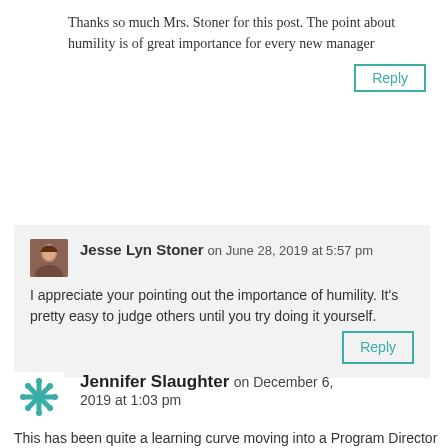Thanks so much Mrs. Stoner for this post. The point about humility is of great importance for every new manager
Jesse Lyn Stoner on June 28, 2019 at 5:57 pm
I appreciate your pointing out the importance of humility. It’s pretty easy to judge others until you try doing it yourself.
Jennifer Slaughter on December 6, 2019 at 1:03 pm
This has been quite a learning curve moving into a Program Director role. Your articles have been instrumental in my ability to juggle all these new